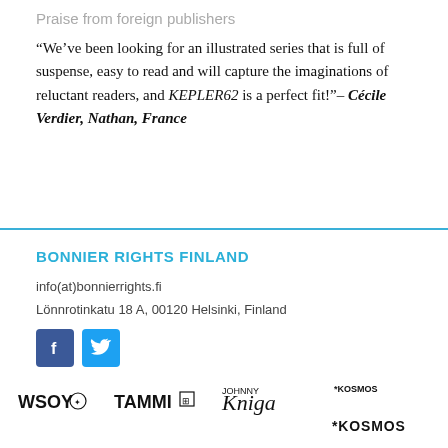Praise from foreign publishers
“We’ve been looking for an illustrated series that is full of suspense, easy to read and will capture the imaginations of reluctant readers, and KEPLER62 is a perfect fit!”– Cécile Verdier, Nathan, France
BONNIER RIGHTS FINLAND
info(at)bonnierrights.fi
Lönnrotinkatu 18 A, 00120 Helsinki, Finland
[Figure (logo): Facebook and Twitter social media icons]
[Figure (logo): Publisher logos: WSOY, TAMMI, Johnny Kniga, *KOSMOS]